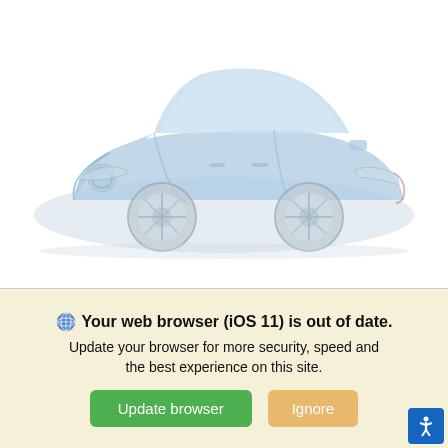[Figure (photo): Blue 2022 Nissan Sentra FWD sedan shown at a three-quarter front angle on a white background, image appears faded/washed out]
New 2022 Nissan Sentra FWD
SV Sedan
Your web browser (iOS 11) is out of date. Update your browser for more security, speed and the best experience on this site.
Update browser
Ignore